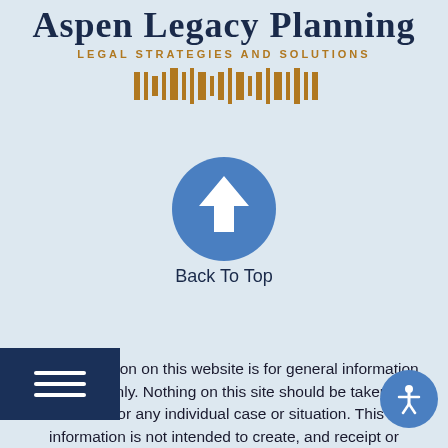[Figure (logo): Aspen Legacy Planning logo with serif title text, subtitle 'LEGAL STRATEGIES AND SOLUTIONS', and a decorative barcode-style graphic in gold/amber color]
[Figure (illustration): Blue circle button for 'Back To Top' navigation]
Back To Top
The information on this website is for general information purposes only. Nothing on this site should be taken as advice for any individual case or situation. This information is not intended to create, and receipt or